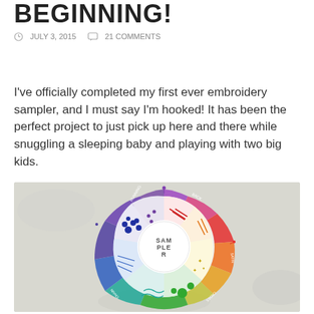BEGINNING!
JULY 3, 2015   21 COMMENTS
I've officially completed my first ever embroidery sampler, and I must say I'm hooked! It has been the perfect project to just pick up here and there while snuggling a sleeping baby and playing with two big kids.
[Figure (photo): A circular embroidery sampler on white fabric, showing a color wheel design with multiple embroidery stitches in rainbow colors arranged in a spiral pattern. The center reads 'SAMPLER'. Different colored sections show different stitch techniques radiating outward.]